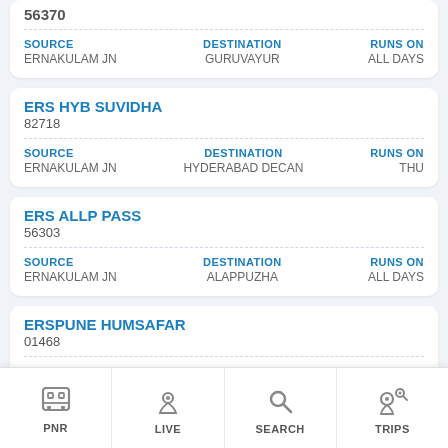56370
SOURCE: ERNAKULAM JN | DESTINATION: GURUVAYUR | RUNS ON: ALL DAYS
ERS HYB SUVIDHA
82718
SOURCE: ERNAKULAM JN | DESTINATION: HYDERABAD DECAN | RUNS ON: THU
ERS ALLP PASS
56303
SOURCE: ERNAKULAM JN | DESTINATION: ALAPPUZHA | RUNS ON: ALL DAYS
ERSPUNE HUMSAFAR
01468
SOURCE: ERNAKULAM JN | DESTINATION: PUNE JN | RUNS ON: WED
PNR | LIVE | SEARCH | TRIPS